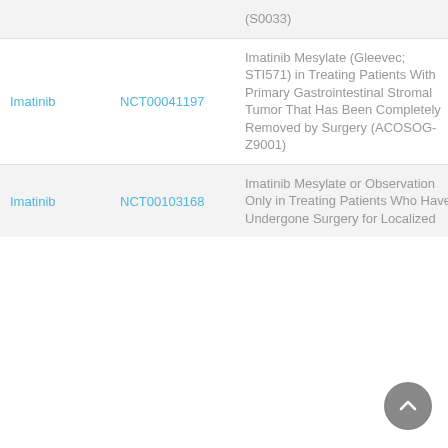| Drug | NCT ID | Title | Phase |
| --- | --- | --- | --- |
| (partial top row — truncated) |  | (S0033) |  |
| Imatinib | NCT00041197 | Imatinib Mesylate (Gleevec; STI571) in Treating Patients With Primary Gastrointestinal Stromal Tumor That Has Been Completely Removed by Surgery (ACOSOG-Z9001) | 3 |
| Imatinib | NCT00103168 | Imatinib Mesylate or Observation Only in Treating Patients Who Have Undergone Surgery for Localized | 3 |